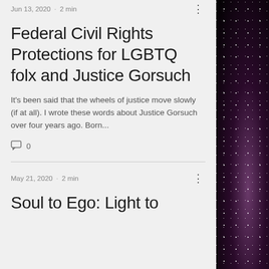Jun 13, 2020 · 2 min
Federal Civil Rights Protections for LGBTQ folx and Justice Gorsuch
It's been said that the wheels of justice move slowly (if at all). I wrote these words about Justice Gorsuch over four years ago. Born...
0 comments
May 21, 2020 · 2 min
Soul to Ego: Light to